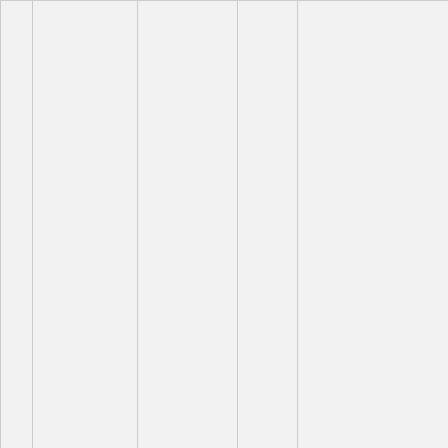|  | Name | Location | State | Subjects | Services |
| --- | --- | --- | --- | --- | --- |
|  |  |  |  |  | Writing
Engineering
Optimization
Social
Writing
Speech
Substitution
Editing
Writing
Writing |
| [icon] | McConahy-Sheetz, Michelle | Burleson | TX | History, Literature, Novels, Science Fiction, Theatre, Visual Arts | Blogging
Writing
Journalism
Photography
Research
Science
General |